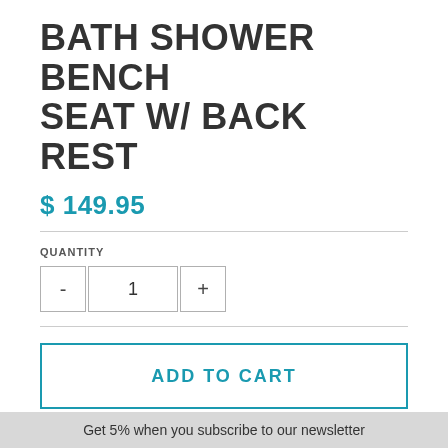BATH SHOWER BENCH SEAT W/ BACK REST
$ 149.95
QUANTITY
1
ADD TO CART
Ada Compliant: Supports up to 350 lbs/when
Get 5% when you subscribe to our newsletter